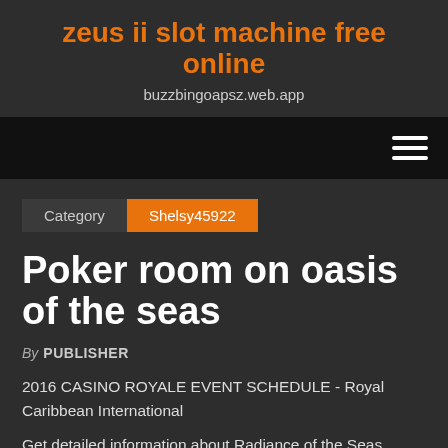zeus ii slot machine free online
buzzbingoapsz.web.app
[Figure (other): Navigation bar with hamburger menu icon on dark black background]
Category   Shelsy45922
Poker room on oasis of the seas
By PUBLISHER
2016 CASINO ROYALE EVENT SCHEDULE - Royal Caribbean International
Get detailed information about Radiance of the Seas